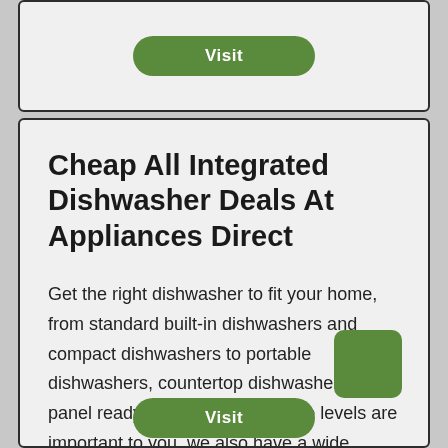[Figure (other): Top card with a green Visit button]
Cheap All Integrated Dishwasher Deals At Appliances Direct
Get the right dishwasher to fit your home, from standard built-in dishwashers and compact dishwashers to portable dishwashers, countertop dishwashers and panel ready dishwashers. If noise levels are important to you, we also have a wide variety of quiet dishwashers. Dishwasher Features. Whether you're looking for basic built-in dishwashers …